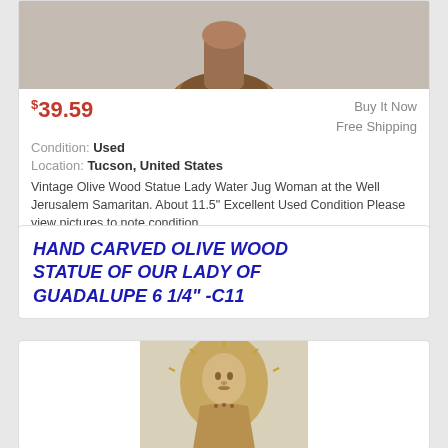[Figure (photo): Top of a carved wooden statue on a round wooden base, cropped at top]
$39.59
Buy It Now
Free Shipping
Condition: Used
Location: Tucson, United States
Vintage Olive Wood Statue Lady Water Jug Woman at the Well Jerusalem Samaritan. About 11.5" Excellent Used Condition Please view pictures to note condition
HAND CARVED OLIVE WOOD STATUE OF OUR LADY OF GUADALUPE 6 1/4" -C11
[Figure (photo): Hand carved olive wood statue of Our Lady of Guadalupe, showing the head and upper body with a halo/sun rays, golden-brown wood color]